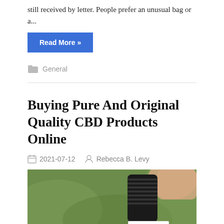still received by letter. People prefer an unusual bag or a...
Read More »
General
Buying Pure And Original Quality CBD Products Online
2021-07-12   Rebecca B. Levy
[Figure (photo): Close-up photo of a hand holding a dropper bottle with golden CBD oil, green blurred background]